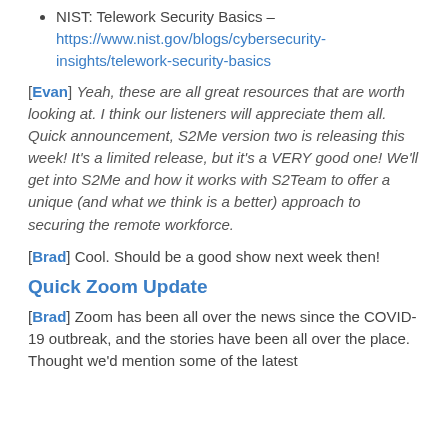NIST: Telework Security Basics – https://www.nist.gov/blogs/cybersecurity-insights/telework-security-basics
[Evan] Yeah, these are all great resources that are worth looking at. I think our listeners will appreciate them all. Quick announcement, S2Me version two is releasing this week! It's a limited release, but it's a VERY good one! We'll get into S2Me and how it works with S2Team to offer a unique (and what we think is a better) approach to securing the remote workforce.
[Brad] Cool. Should be a good show next week then!
Quick Zoom Update
[Brad] Zoom has been all over the news since the COVID-19 outbreak, and the stories have been all over the place. Thought we'd mention some of the latest